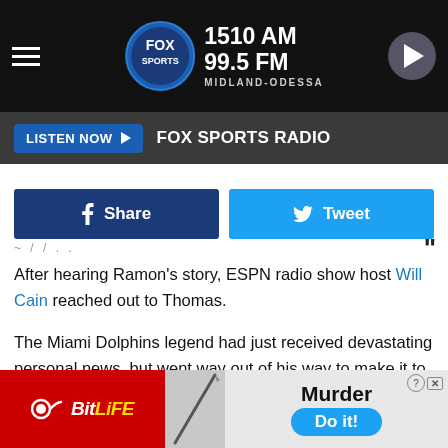FOX SPORTS 1510 AM 99.5 FM MIDLAND-ODESSA
LISTEN NOW   FOX SPORTS RADIO
[Figure (screenshot): Facebook Share and Twitter Tweet buttons side by side]
After hearing Ramon's story, ESPN radio show host Will Cain reached out to Thomas.
The Miami Dolphins legend had just received devastating personal news, but went way out of his way to make it to the bar where Ramon worked with a signed jersey and a hug.
Zach Thomas might not be in the Hall of Fame, but he is definite
[Figure (screenshot): BitLife app advertisement banner with Murder Do it! call to action]